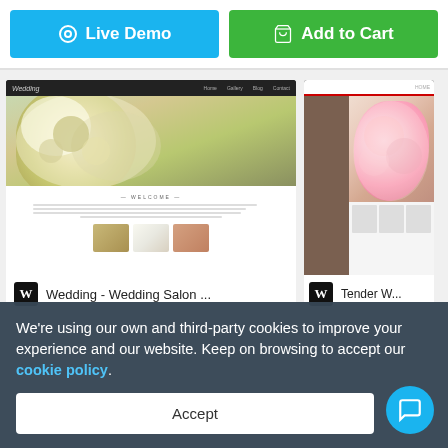[Figure (screenshot): Two buttons: blue 'Live Demo' button and green 'Add to Cart' button]
[Figure (screenshot): Wedding theme website screenshot showing floral hero image and welcome section]
Wedding - Wedding Salon ...
[Figure (screenshot): Tender wedding theme partial screenshot showing pink roses]
Tender W...
We're using our own and third-party cookies to improve your experience and our website. Keep on browsing to accept our cookie policy.
Accept